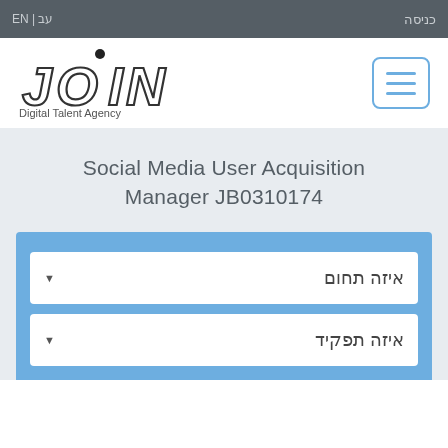EN | עב   כניסה
[Figure (logo): JOIN Digital Talent Agency logo with stylized lettering and a dot above the I]
Social Media User Acquisition Manager JB0310174
איזה תחום
איזה תפקיד